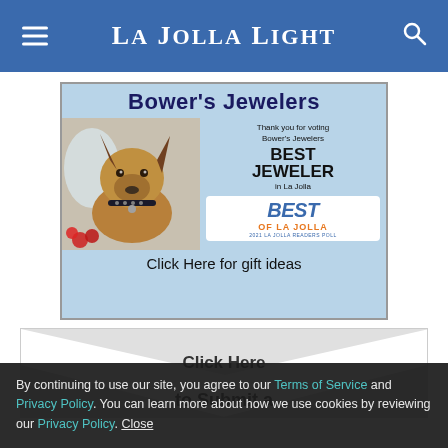La Jolla Light
[Figure (illustration): Advertisement for Bower's Jewelers on a light blue background with a photo of a dog (German Shepherd mix), text 'Thank you for voting Bower's Jewelers BEST JEWELER in La Jolla', Best of La Jolla 2021 readers poll badge, and 'Click Here for gift ideas']
[Figure (illustration): Email newsletter signup widget styled as an envelope with text 'Click Here' and 'to Submit a']
By continuing to use our site, you agree to our Terms of Service and Privacy Policy. You can learn more about how we use cookies by reviewing our Privacy Policy. Close